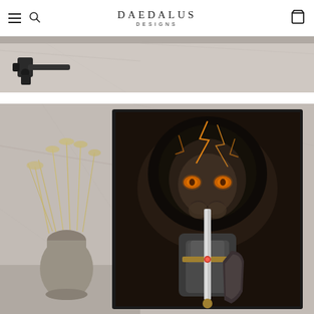DAEDALUS DESIGNS
[Figure (photo): Partial view of industrial-style furniture on a marble/concrete surface, showing pipe fittings and tabletop edge]
[Figure (photo): Framed canvas art print showing a lion with glowing orange eyes and lightning bolt markings wearing knight armor and holding a sword, displayed on a marble wall next to a vase with dried grass]